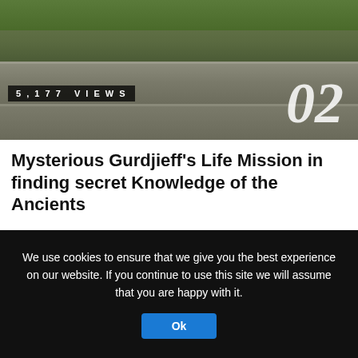[Figure (photo): Outdoor stone ledge or steps with green grass at top, numbered '02' overlay in bottom-right, '5,177 VIEWS' badge at bottom-left]
Mysterious Gurdjieff’s Life Mission in finding secret Knowledge of the Ancients
‘Take the understanding of the East and the knowledge of the West —and then seek’. G.I. Gurdjieff. Nobody knows the exact … More
[Figure (photo): Composite black and white image: left side shows ancient Egyptian-style relief carving with winged figure; right side shows ancient script or inscription text]
We use cookies to ensure that we give you the best experience on our website. If you continue to use this site we will assume that you are happy with it.